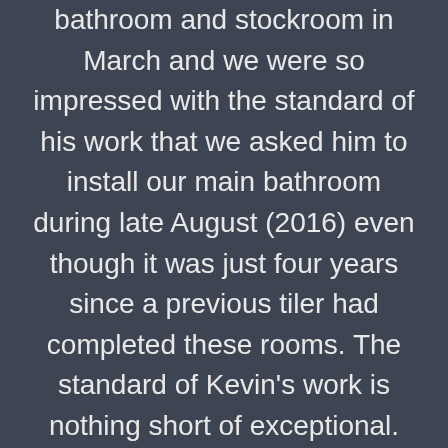bathroom and stockroom in March and we were so impressed with the standard of his work that we asked him to install our main bathroom during late August (2016) even though it was just four years since a previous tiler had completed these rooms. The standard of Kevin's work is nothing short of exceptional. He is the most skilful tradesman that has ever worked on my home and I would recommend him without any